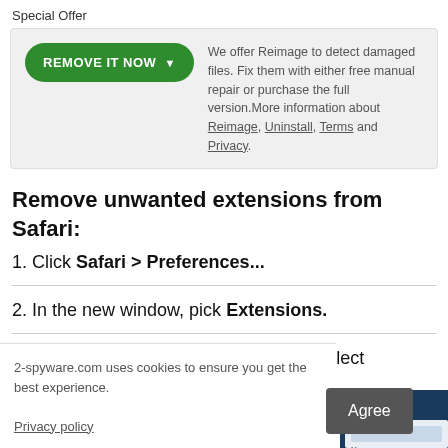Special Offer
We offer Reimage to detect damaged files. Fix them with either free manual repair or purchase the full version.More information about Reimage, Uninstall, Terms and Privacy.
Remove unwanted extensions from Safari:
1. Click Safari > Preferences...
2. In the new window, pick Extensions.
3. Select the unwanted extension and select Uninstall.
2-spyware.com uses cookies to ensure you get the best experience.
Privacy policy
[Figure (screenshot): Screenshot of Safari browser extension settings window]
Agree